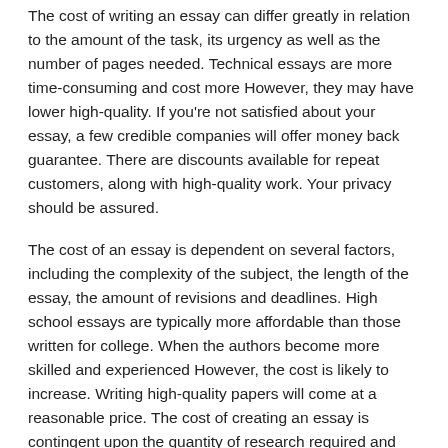The cost of writing an essay can differ greatly in relation to the amount of the task, its urgency as well as the number of pages needed. Technical essays are more time-consuming and cost more However, they may have lower high-quality. If you're not satisfied about your essay, a few credible companies will offer money back guarantee. There are discounts available for repeat customers, along with high-quality work. Your privacy should be assured.
The cost of an essay is dependent on several factors, including the complexity of the subject, the length of the essay, the amount of revisions and deadlines. High school essays are typically more affordable than those written for college. When the authors become more skilled and experienced However, the cost is likely to increase. Writing high-quality papers will come at a reasonable price. The cost of creating an essay is contingent upon the quantity of research required and whether you want the essay to be composed with a high degree of distinctiveness.